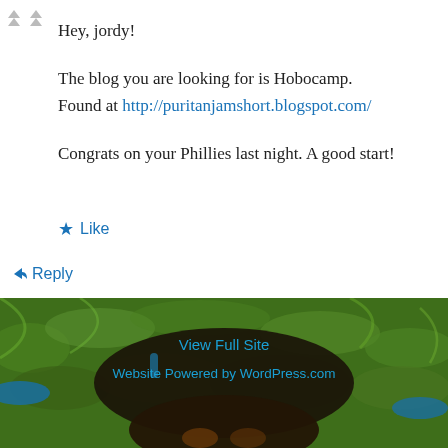Hey, jordy!
The blog you are looking for is Hobocamp. Found at http://puritanjamshort.blogspot.com/
Congrats on your Phillies last night. A good start!
★ Like
↳ Reply
[Figure (photo): Photo of a black dog lying in green grass, with blue collar, viewed from above. Text overlays: 'View Full Site' and 'Website Powered by WordPress.com' in blue.]